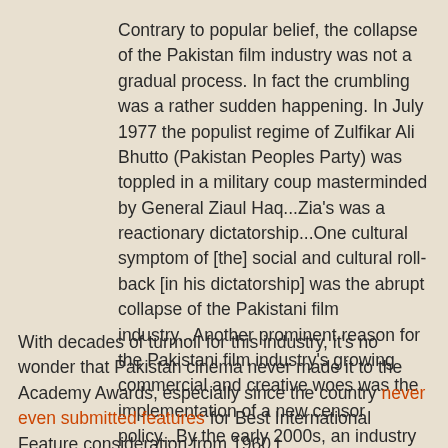Contrary to popular belief, the collapse of the Pakistan film industry was not a gradual process. In fact the crumbling was a rather sudden happening. In July 1977 the populist regime of Zulfikar Ali Bhutto (Pakistan Peoples Party) was toppled in a military coup masterminded by General Ziaul Haq...Zia's was a reactionary dictatorship...One cultural symptom of [the] social and cultural roll-back [in his dictatorship] was the abrupt collapse of the Pakistani film industry...Another prominent reason for the Pakistani film industry's growing commercial and creative woes was the implementation of a new censor policy...By the early 2000s, an industry that once produced an average of 80 films annually was now struggling to even churn out more than two films a year...
With decades of turmoil for this industry, it's no wonder that Pakistan cinema never made it to the Academy Awards, especially since the country never even submitted features for Best International Feature consideration from 1960 t...